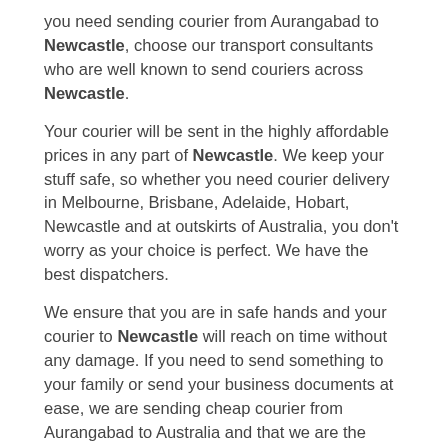you need sending courier from Aurangabad to Newcastle, choose our transport consultants who are well known to send couriers across Newcastle.
Your courier will be sent in the highly affordable prices in any part of Newcastle. We keep your stuff safe, so whether you need courier delivery in Melbourne, Brisbane, Adelaide, Hobart, Newcastle and at outskirts of Australia, you don't worry as your choice is perfect. We have the best dispatchers.
We ensure that you are in safe hands and your courier to Newcastle will reach on time without any damage. If you need to send something to your family or send your business documents at ease, we are sending cheap courier from Aurangabad to Australia and that we are the most reliable in the industry. We will offer the essential information regarding your courier service. We have a great team that will assist you throughout your shipment also we have a facility to offer our customer with tracking number so that they can track their order with the peace of mind.
Courier to Aurangabad from Newcastle
Save on the standard prices for door to door delivery. If you have a courier pickup to be done for residence or business, we provide